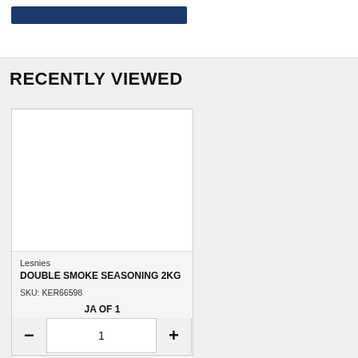[Figure (screenshot): Top banner with blue button/bar element on white background]
RECENTLY VIEWED
[Figure (screenshot): Product card image area - blank white image placeholder]
Lesnies
DOUBLE SMOKE SEASONING 2KG
SKU: KER66598
JA OF 1
[Figure (screenshot): Quantity selector control with minus button, value 1, plus button]